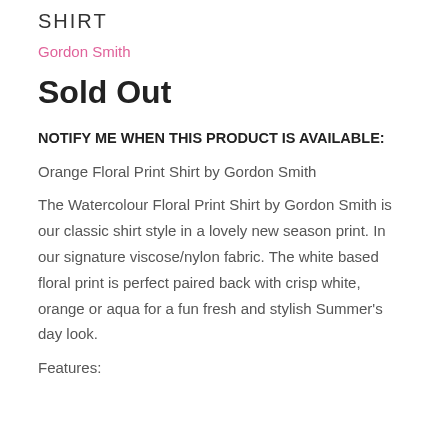SHIRT
Gordon Smith
Sold Out
NOTIFY ME WHEN THIS PRODUCT IS AVAILABLE:
Orange Floral Print Shirt by Gordon Smith
The Watercolour Floral Print Shirt by Gordon Smith is our classic shirt style in a lovely new season print. In our signature viscose/nylon fabric. The white based floral print is perfect paired back with crisp white, orange or aqua for a fun fresh and stylish Summer's day look.
Features: